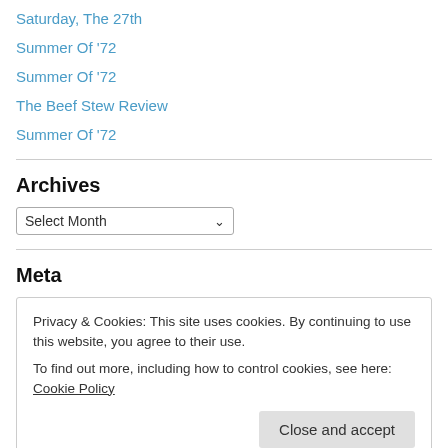Saturday, The 27th
Summer Of '72
Summer Of '72
The Beef Stew Review
Summer Of '72
Archives
Select Month
Meta
Privacy & Cookies: This site uses cookies. By continuing to use this website, you agree to their use.
To find out more, including how to control cookies, see here: Cookie Policy
Close and accept